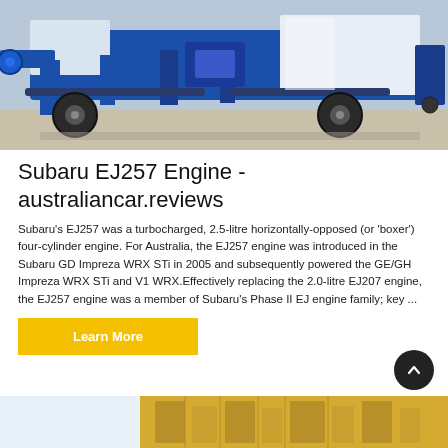[Figure (photo): Blue industrial machinery/equipment with wheels on a concrete surface, photographed outdoors]
Subaru EJ257 Engine - australiancar.reviews
Subaru's EJ257 was a turbocharged, 2.5-litre horizontally-opposed (or 'boxer') four-cylinder engine. For Australia, the EJ257 engine was introduced in the Subaru GD Impreza WRX STi in 2005 and subsequently powered the GE/GH Impreza WRX STi and V1 WRX.Effectively replacing the 2.0-litre EJ207 engine, the EJ257 engine was a member of Subaru's Phase II EJ engine family; key ...
[Figure (photo): Partial view of another industrial/mechanical equipment at the bottom of the page, yellow and grey tones]